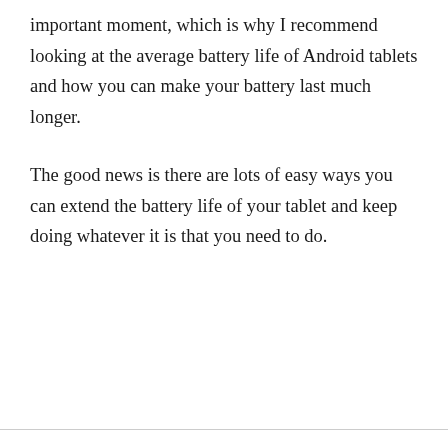important moment, which is why I recommend looking at the average battery life of Android tablets and how you can make your battery last much longer.
The good news is there are lots of easy ways you can extend the battery life of your tablet and keep doing whatever it is that you need to do.